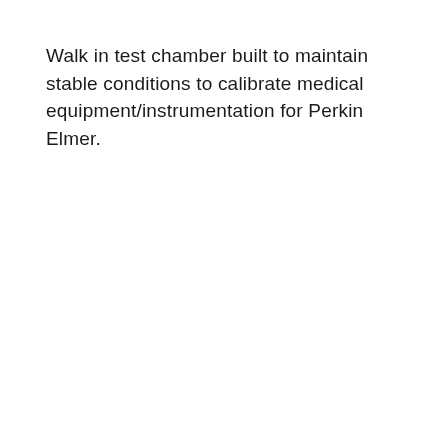Walk in test chamber built to maintain stable conditions to calibrate medical equipment/instrumentation for Perkin Elmer.